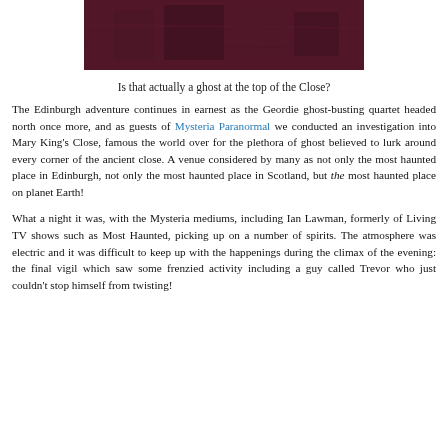[Figure (photo): Dark reddish-purple photograph showing the top of a close, possibly with a ghostly figure visible]
Is that actually a ghost at the top of the Close?
The Edinburgh adventure continues in earnest as the Geordie ghost-busting quartet headed north once more, and as guests of Mysteria Paranormal we conducted an investigation into Mary King's Close, famous the world over for the plethora of ghost believed to lurk around every corner of the ancient close. A venue considered by many as not only the most haunted place in Edinburgh, not only the most haunted place in Scotland, but the most haunted place on planet Earth!
What a night it was, with the Mysteria mediums, including Ian Lawman, formerly of Living TV shows such as Most Haunted, picking up on a number of spirits. The atmosphere was electric and it was difficult to keep up with the happenings during the climax of the evening: the final vigil which saw some frenzied activity including a guy called Trevor who just couldn't stop himself from twisting!